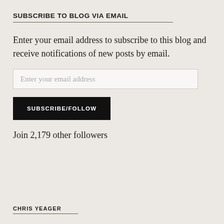SUBSCRIBE TO BLOG VIA EMAIL
Enter your email address to subscribe to this blog and receive notifications of new posts by email.
Enter your email address
SUBSCRIBE/FOLLOW
Join 2,179 other followers
CHRIS YEAGER